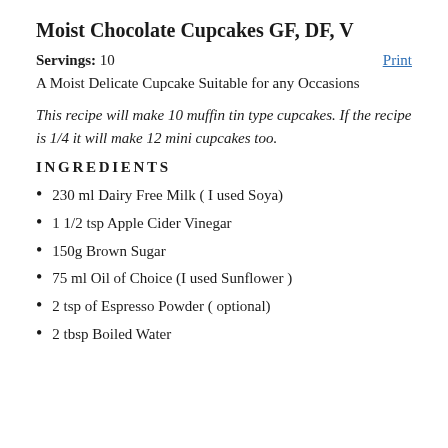Moist Chocolate Cupcakes GF, DF, V
Servings: 10   Print
A Moist Delicate Cupcake Suitable for any Occasions
This recipe will make 10 muffin tin type cupcakes. If the recipe is 1/4 it will make 12 mini cupcakes too.
INGREDIENTS
230 ml Dairy Free Milk ( I used Soya)
1 1/2 tsp Apple Cider Vinegar
150g Brown Sugar
75 ml Oil of Choice (I used Sunflower )
2 tsp of Espresso Powder ( optional)
2 tbsp Boiled Water